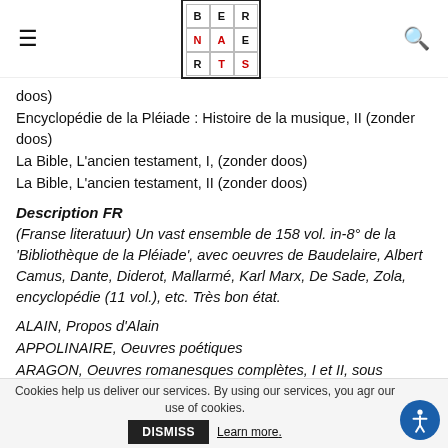BERNAERTS logo with hamburger menu and search icon
doos)
Encyclopédie de la Pléiade : Histoire de la musique, II (zonder doos)
La Bible, L'ancien testament, I, (zonder doos)
La Bible, L'ancien testament, II (zonder doos)
Description FR
(Franse literatuur) Un vast ensemble de 158 vol. in-8° de la 'Bibliothèque de la Pléiade', avec oeuvres de Baudelaire, Albert Camus, Dante, Diderot, Mallarmé, Karl Marx, De Sade, Zola, encyclopédie (11 vol.), etc. Très bon état.
ALAIN, Propos d'Alain
APPOLINAIRE, Oeuvres poétiques
ARAGON, Oeuvres romanesques complètes, I et II, sous emboîtage
ARISTOPHANE, Théâtre complet, sous emboîtage
BALZAC, La comédie humaine I, Etudes de moeurs : scènes de la vie privée. I
Cookies help us deliver our services. By using our services, you agr our use of cookies. DISMISS Learn more.